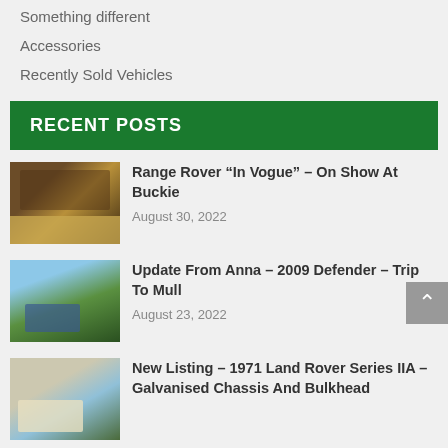Something different
Accessories
Recently Sold Vehicles
RECENT POSTS
Range Rover “In Vogue” – On Show At Buckie
August 30, 2022
Update From Anna – 2009 Defender – Trip To Mull
August 23, 2022
New Listing – 1971 Land Rover Series IIA – Galvanised Chassis And Bulkhead